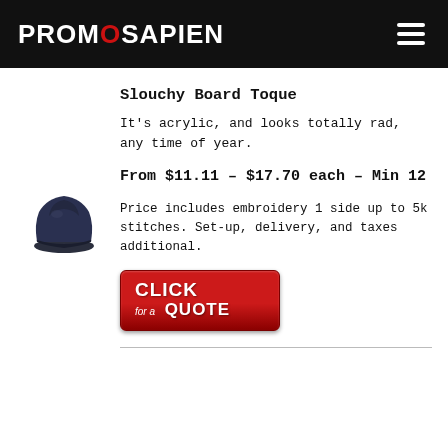PROMOSAPIEN
Slouchy Board Toque
It's acrylic, and looks totally rad, any time of year.
From $11.11 – $17.70 each – Min 12
[Figure (photo): Dark navy blue slouchy beanie/toque hat product photo]
Price includes embroidery 1 side up to 5k stitches. Set-up, delivery, and taxes additional.
[Figure (other): Red 'CLICK for a QUOTE' call-to-action button]